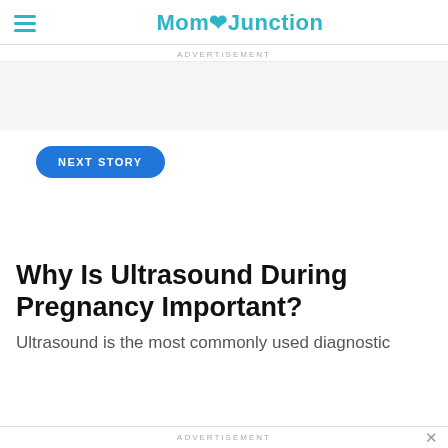MomJunction
ADVERTISEMENT
NEXT STORY
Why Is Ultrasound During Pregnancy Important?
Ultrasound is the most commonly used diagnostic
ADVERTISEMENT